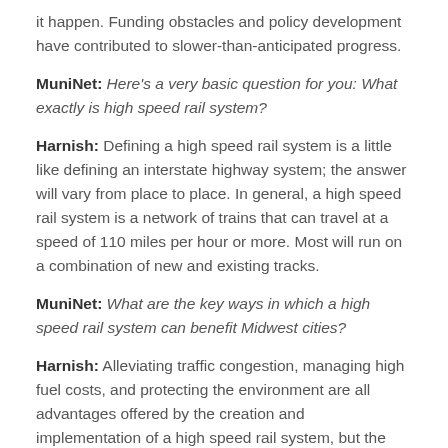it happen. Funding obstacles and policy development have contributed to slower-than-anticipated progress.
MuniNet: Here's a very basic question for you: What exactly is high speed rail system?
Harnish: Defining a high speed rail system is a little like defining an interstate highway system; the answer will vary from place to place. In general, a high speed rail system is a network of trains that can travel at a speed of 110 miles per hour or more. Most will run on a combination of new and existing tracks.
MuniNet: What are the key ways in which a high speed rail system can benefit Midwest cities?
Harnish: Alleviating traffic congestion, managing high fuel costs, and protecting the environment are all advantages offered by the creation and implementation of a high speed rail system, but the